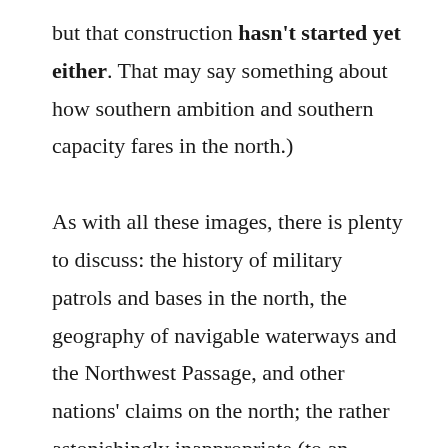but that construction hasn't started yet either. That may say something about how southern ambition and southern capacity fares in the north.) As with all these images, there is plenty to discuss: the history of military patrols and bases in the north, the geography of navigable waterways and the Northwest Passage, and other nations' claims on the north; the rather astonishingly inappropriate (to an historian, anyway) choice of